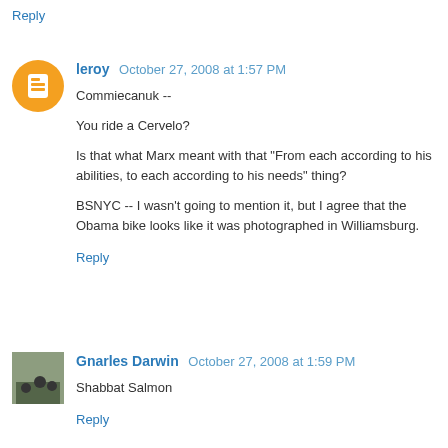Reply
leroy  October 27, 2008 at 1:57 PM
Commiecanuk --

You ride a Cervelo?

Is that what Marx meant with that "From each according to his abilities, to each according to his needs" thing?

BSNYC -- I wasn't going to mention it, but I agree that the Obama bike looks like it was photographed in Williamsburg.
Reply
Gnarles Darwin  October 27, 2008 at 1:59 PM
Shabbat Salmon
Reply